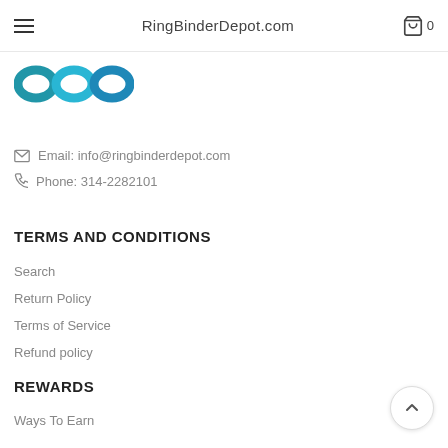RingBinderDepot.com
[Figure (logo): Partial logo showing blue ring binder icons (loops) at top left]
Email: info@ringbinderdepot.com
Phone: 314-2282101
TERMS AND CONDITIONS
Search
Return Policy
Terms of Service
Refund policy
REWARDS
Ways To Earn